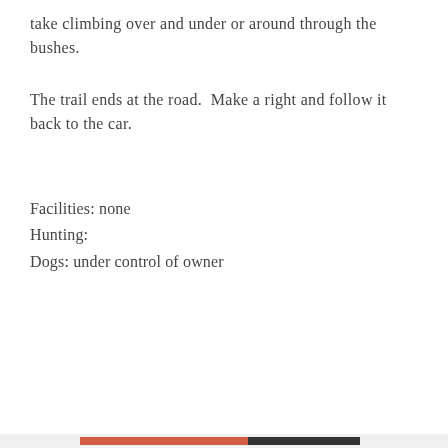take climbing over and under or around through the bushes.
The trail ends at the road.  Make a right and follow it back to the car.
Facilities: none
Hunting:
Dogs: under control of owner
Privacy & Cookies: This site uses cookies. By continuing to use this website, you agree to their use.
To find out more, including how to control cookies, see here: Cookie Policy
Close and accept